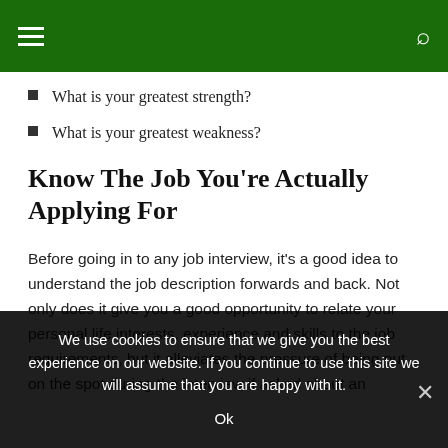What is your greatest strength?
What is your greatest weakness?
Know The Job You're Actually Applying For
Before going in to any job interview, it's a good idea to understand the job description forwards and back. Not only does it give you a good opportunity to relate your personal life interests, experience and skills to the job requirements, but it alleviates the pressure of being put on the spot during the interview if asked about an
We use cookies to ensure that we give you the best experience on our website. If you continue to use this site we will assume that you are happy with it.
Ok